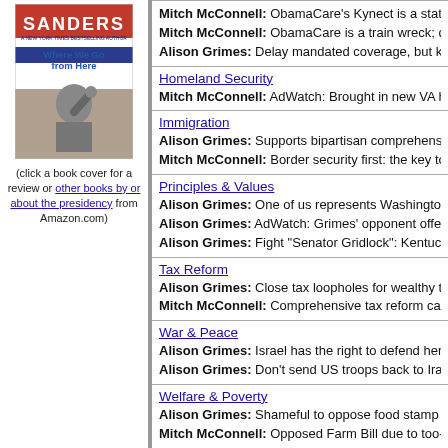[Figure (illustration): Book cover of 'Where We Go from Here' by Bernie Sanders, showing Sanders with raised fist on red background]
(click a book cover for a review or other books by or about the presidency from Amazon.com)
Homeland Security
Mitch McConnell: AdWatch: Brought in new VA hosp
Immigration
Alison Grimes: Supports bipartisan comprehensive
Mitch McConnell: Border security first: the key to ge
Principles & Values
Alison Grimes: One of us represents Washington; o
Alison Grimes: AdWatch: Grimes' opponent offered
Alison Grimes: Fight "Senator Gridlock": Kentucky p
Tax Reform
Alison Grimes: Close tax loopholes for wealthy to pa
Mitch McConnell: Comprehensive tax reform can we
War & Peace
Alison Grimes: Israel has the right to defend herself
Alison Grimes: Don't send US troops back to Iraq; b
Welfare & Poverty
Alison Grimes: Shameful to oppose food stamp prog
Mitch McConnell: Opposed Farm Bill due to too-gen